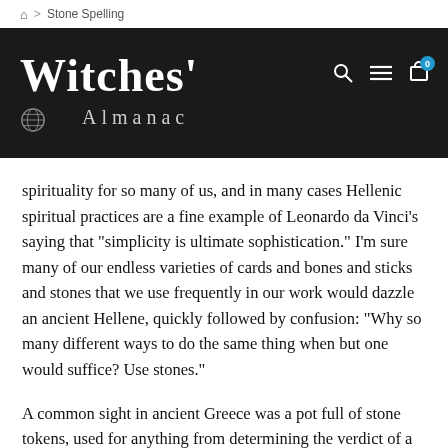Home > Stone Spelling
[Figure (logo): Witches' Almanac website header with gothic logo text, search icon, menu icon, and cart icon with badge 0]
spirituality for so many of us, and in many cases Hellenic spiritual practices are a fine example of Leonardo da Vinci’s saying that “simplicity is ultimate sophistication.” I’m sure many of our endless varieties of cards and bones and sticks and stones that we use frequently in our work would dazzle an ancient Hellene, quickly followed by confusion: “Why so many different ways to do the same thing when but one would suffice? Use stones.”
A common sight in ancient Greece was a pot full of stone tokens, used for anything from determining the verdict of a court to voting who should be exiled from the city. Even today, our word “ostracism” comes from the Greek ostrakoi, referring to broken shards of pottery recycled for use as tokens, but even these were a thrifty recycling of trash to replace what was likely originally